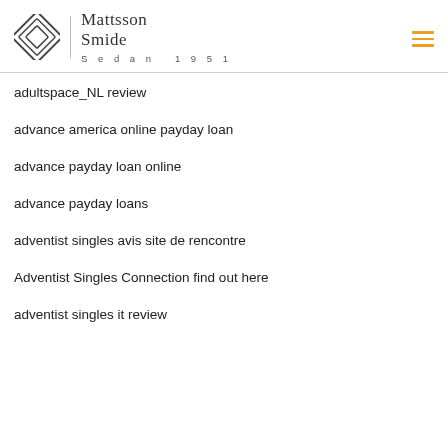Mattsson Smide | Sedan 1951
adultspace_NL review
advance america online payday loan
advance payday loan online
advance payday loans
adventist singles avis site de rencontre
Adventist Singles Connection find out here
adventist singles it review